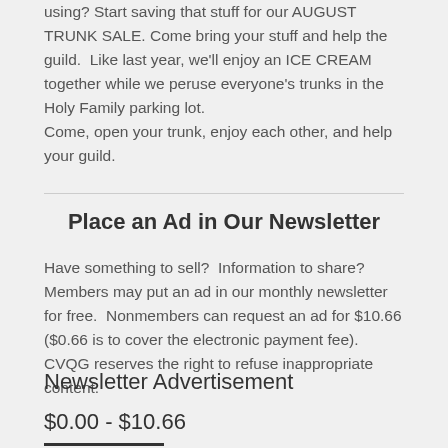using? Start saving that stuff for our AUGUST TRUNK SALE. Come bring your stuff and help the guild.  Like last year, we'll enjoy an ICE CREAM together while we peruse everyone's trunks in the Holy Family parking lot.
Come, open your trunk, enjoy each other, and help your guild.
Place an Ad in Our Newsletter
Have something to sell?  Information to share?  Members may put an ad in our monthly newsletter for free.  Nonmembers can request an ad for $10.66 ($0.66 is to cover the electronic payment fee).
CVQG reserves the right to refuse inappropriate content.
Newsletter Advertisement
$0.00 - $10.66